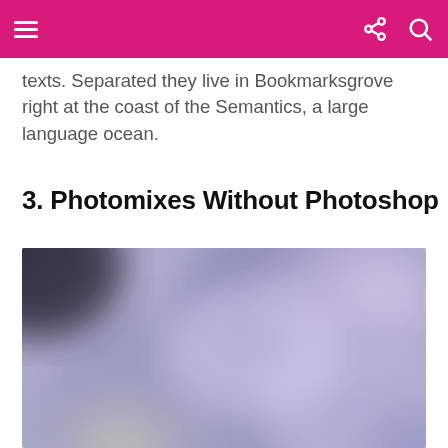navigation bar with hamburger menu, share, and search icons
texts. Separated they live in Bookmarksgrove right at the coast of the Semantics, a large language ocean.
3. Photomixes Without Photoshop
[Figure (photo): A blurred abstract photo with soft purple, lavender, grey, and pale green tones blended together, no distinct subject visible.]